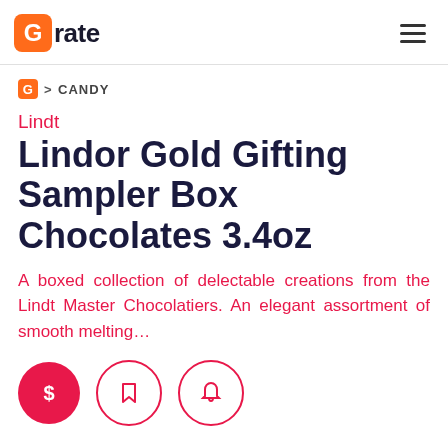Grate
G > CANDY
Lindt
Lindor Gold Gifting Sampler Box Chocolates 3.4oz
A boxed collection of delectable creations from the Lindt Master Chocolatiers. An elegant assortment of smooth melting...
[Figure (other): Three circular action buttons: a filled pink dollar-sign button, an outline bookmark button, and an outline bell button]